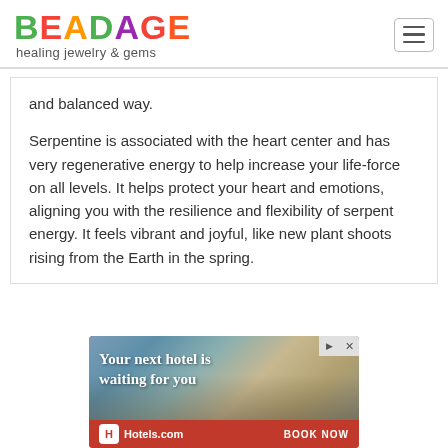BEADAGE healing jewelry & gems
and balanced way.
Serpentine is associated with the heart center and has very regenerative energy to help increase your life-force on all levels. It helps protect your heart and emotions, aligning you with the resilience and flexibility of serpent energy. It feels vibrant and joyful, like new plant shoots rising from the Earth in the spring.
[Figure (other): Advertisement banner for Hotels.com showing a city skyline photo with text 'Your next hotel is waiting for you' and 'BOOK NOW' call to action]